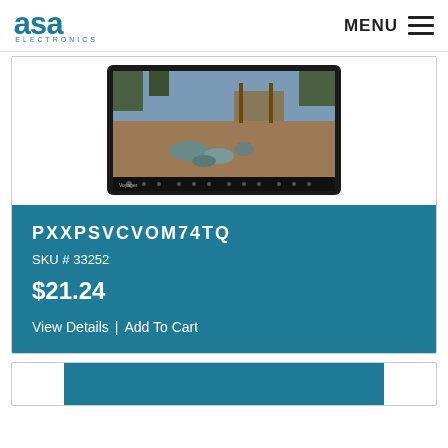ASA Electronics — MENU
[Figure (photo): Product image showing a monitor/display screen with outdoor camera footage visible on screen, dark bezel with control buttons at the bottom]
PXXPSVCVOM74TQ
SKU # 33252
$21.24
View Details | Add To Cart